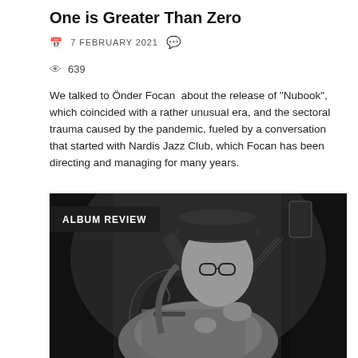One is Greater Than Zero
7 FEBRUARY 2021
639
We talked to Önder Focan  about the release of “Nubook”, which coincided with a rather unusual era, and the sectoral trauma caused by the pandemic, fueled by a conversation that started with Nardis Jazz Club, which Focan has been directing and managing for many years.
[Figure (photo): Black and white photograph of a man wearing glasses and a hat, playing a jazz guitar on stage. Text overlay reads ALBUM REVIEW.]